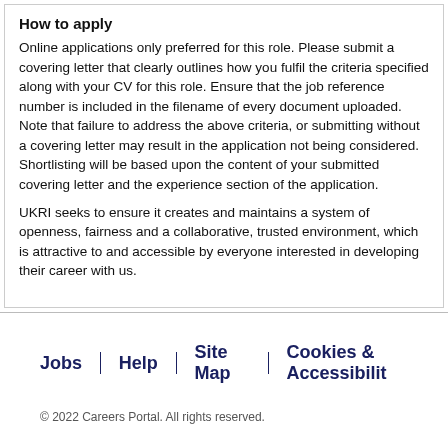How to apply
Online applications only preferred for this role. Please submit a covering letter that clearly outlines how you fulfil the criteria specified along with your CV for this role. Ensure that the job reference number is included in the filename of every document uploaded. Note that failure to address the above criteria, or submitting without a covering letter may result in the application not being considered. Shortlisting will be based upon the content of your submitted covering letter and the experience section of the application.
UKRI seeks to ensure it creates and maintains a system of openness, fairness and a collaborative, trusted environment, which is attractive to and accessible by everyone interested in developing their career with us.
Jobs | Help | Site Map | Cookies & Accessibility
© 2022 Careers Portal. All rights reserved.